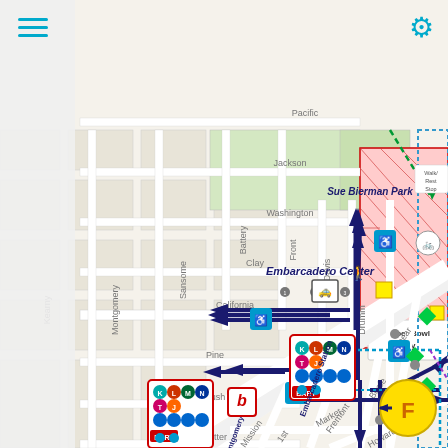[Figure (map): Street map of downtown San Francisco showing the Embarcadero area with Super Bowl City event zone marked in red hatching, Embarcadero Station, Montgomery Station, transit route icons (BART/Muni lines K, L, M, N, T), pedestrian walking routes shown as blue arrows, accessible routes with wheelchair icons, bike route with dashed green line, Sue Bierman Park labeled, Embarcadero Center labeled, streets labeled including Pacific, Jackson, Washington, Clay, California, Pine, Bush, Sutter, Market, Mission, Kearny, Montgomery, Sansome, Battery, Front, Davis, Drumm, Spear, Beale, Fremont, 1st, Howard. A large yellow circle with a parking/transit symbol appears near Spear and Beale. Transit line icons shown in red-outlined boxes at Embarcadero Station and Montgomery Station.]